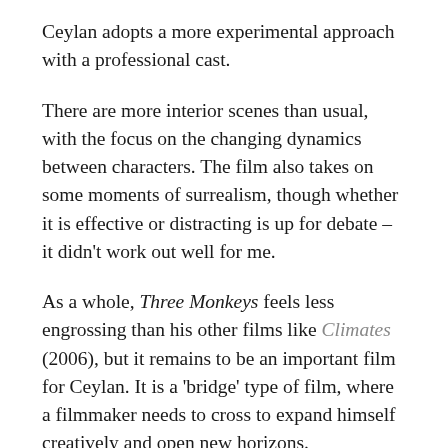Ceylan adopts a more experimental approach with a professional cast.
There are more interior scenes than usual, with the focus on the changing dynamics between characters. The film also takes on some moments of surrealism, though whether it is effective or distracting is up for debate – it didn't work out well for me.
As a whole, Three Monkeys feels less engrossing than his other films like Climates (2006), but it remains to be an important film for Ceylan. It is a 'bridge' type of film, where a filmmaker needs to cross to expand himself creatively and open new horizons.
I would like to think that the process served him